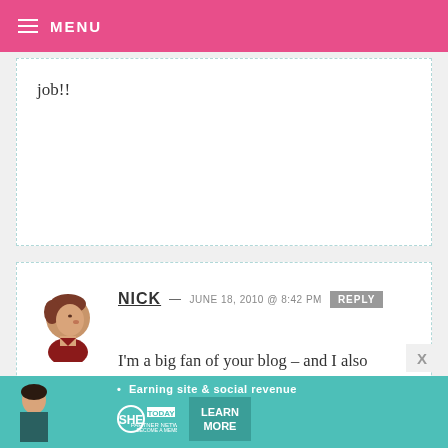MENU
job!!
NICK — JUNE 18, 2010 @ 8:42 PM REPLY
I'm a big fan of your blog – and I also happened to have worked on Toy Story 3 at Pixar. I just wanted to say that this is an adorable tribute; you did a fantastic job!! :)
[Figure (illustration): Avatar illustration of a person with brown hair in profile view]
• Earning site & social revenue SHE PARTNER NETWORK BECOME A MEMBER LEARN MORE